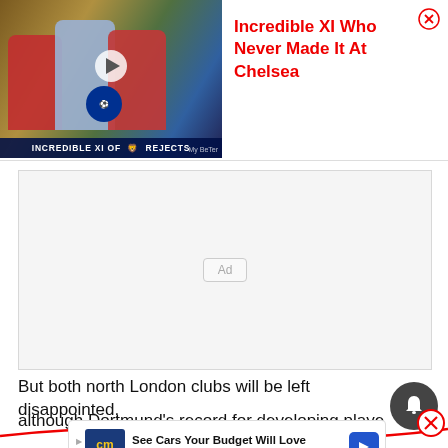[Figure (screenshot): Video thumbnail showing three football players with text overlay 'INCREDIBLE XI OF CHELSEA REJECTS']
Incredible XI Who Never Made It At Chelsea
[Figure (other): Ad placeholder box with 'Ad' label]
But both north London clubs will be left disappointed,
although Dortmund's record for developing playe...
[Figure (other): CarMax advertisement: See Cars Your Budget Will Love]